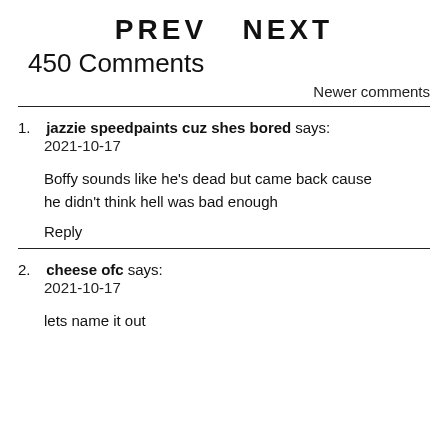PREV   NEXT
450 Comments
Newer comments
1. jazzie speedpaints cuz shes bored says:
2021-10-17

Boffy sounds like he's dead but came back cause he didn't think hell was bad enough

Reply
2. cheese ofc says:
2021-10-17